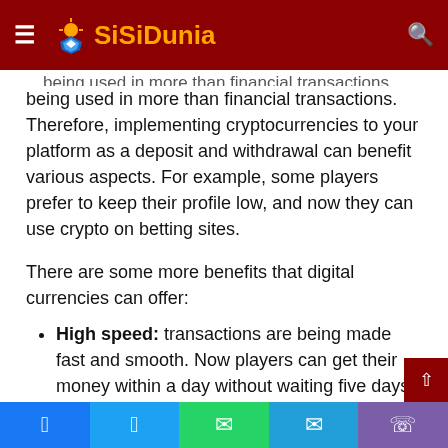SiSiDunia
being used in more than financial transactions. Therefore, implementing cryptocurrencies to your platform as a deposit and withdrawal can benefit various aspects. For example, some players prefer to keep their profile low, and now they can use crypto on betting sites.
There are some more benefits that digital currencies can offer:
High speed: transactions are being made fast and smooth. Now players can get their money within a day without waiting five days.
Anonymity: users' personal information is needed if they